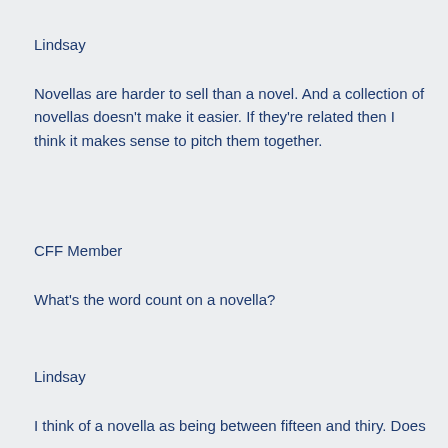Lindsay
Novellas are harder to sell than a novel.  And a collection of novellas doesn't make it easier.  If they're related then I think it makes sense to pitch them together.
CFF Member
What's the word count on a novella?
Lindsay
I think of a novella as being between fifteen and thiry.  Does that seem right to you?  I cannot contain it Kindle single...